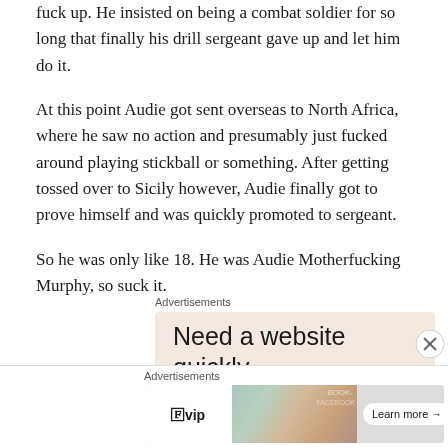fuck up. He insisted on being a combat soldier for so long that finally his drill sergeant gave up and let him do it.
At this point Audie got sent overseas to North Africa, where he saw no action and presumably just fucked around playing stickball or something. After getting tossed over to Sicily however, Audie finally got to prove himself and was quickly promoted to sergeant.
So he was only like 18. He was Audie Motherfucking Murphy, so suck it.
[Figure (other): Advertisement banner: 'Need a website quickly – and on a budget?' on a pale pink/peach background]
[Figure (other): Bottom advertisement bar showing WordPress VIP logo, social media platform cards image, and 'Learn more' button]